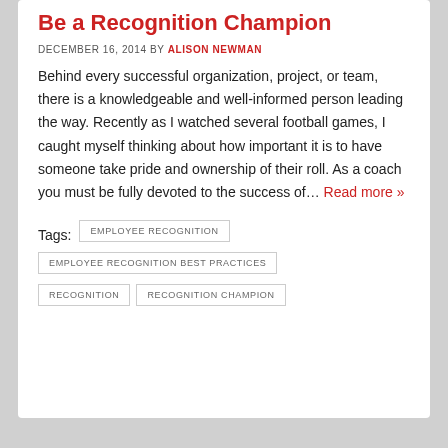Be a Recognition Champion
DECEMBER 16, 2014 BY ALISON NEWMAN
Behind every successful organization, project, or team, there is a knowledgeable and well-informed person leading the way. Recently as I watched several football games, I caught myself thinking about how important it is to have someone take pride and ownership of their roll. As a coach you must be fully devoted to the success of… Read more »
Tags: EMPLOYEE RECOGNITION EMPLOYEE RECOGNITION BEST PRACTICES RECOGNITION RECOGNITION CHAMPION